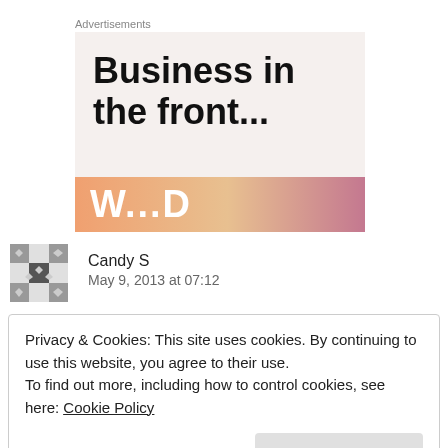Advertisements
[Figure (illustration): Advertisement banner with bold text 'Business in the front...' on a light beige background, with a colorful orange-pink gradient bar at the bottom containing partial text 'W...D']
Candy S
May 9, 2013 at 07:12
Privacy & Cookies: This site uses cookies. By continuing to use this website, you agree to their use.
To find out more, including how to control cookies, see here: Cookie Policy
Close and accept
pleasant places to visit in Texas than that! I am a Michigander